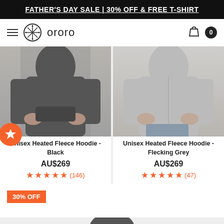FATHER'S DAY SALE | 30% OFF & FREE T-SHIRT
[Figure (screenshot): Ororo brand navigation bar with hamburger menu, logo, and cart icon]
[Figure (photo): Unisex Heated Fleece Hoodie in Black - model wearing dark hoodie with hands in pockets]
Unisex Heated Fleece Hoodie - Black
AU$269
★★★★★ (146)
[Figure (photo): Unisex Heated Fleece Hoodie in Flecking Grey - model wearing grey hoodie]
Unisex Heated Fleece Hoodie - Flecking Grey
AU$269
★★★★★ (47)
30% OFF
[Figure (photo): Partial view of a dark product at the bottom of the page]